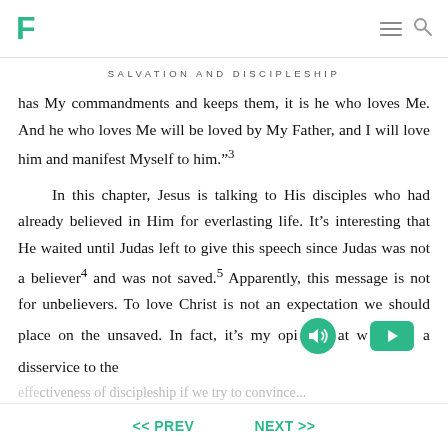F [logo] [hamburger menu] [search]
SALVATION AND DISCIPLESHIP
has My commandments and keeps them, it is he who loves Me. And he who loves Me will be loved by My Father, and I will love him and manifest Myself to him."³

In this chapter, Jesus is talking to His disciples who had already believed in Him for everlasting life. It's interesting that He waited until Judas left to give this speech since Judas was not a believer⁴ and was not saved.⁵ Apparently, this message is not for unbelievers. To love Christ is not an expectation we should place on the unsaved. In fact, it's my opi[audio icon][play icon]at w[...]a disservice to the effe...
<< PREV    NEXT >>